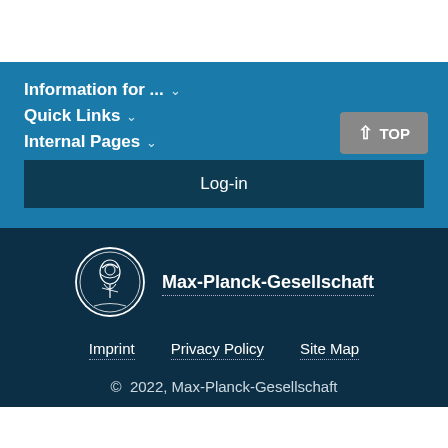Information for ... ∨
Quick Links ∨
Internal Pages ∨
Log-in
[Figure (logo): Max-Planck-Gesellschaft circular medallion logo with Minerva figure]
Max-Planck-Gesellschaft
Imprint    Privacy Policy    Site Map
© 2022, Max-Planck-Gesellschaft